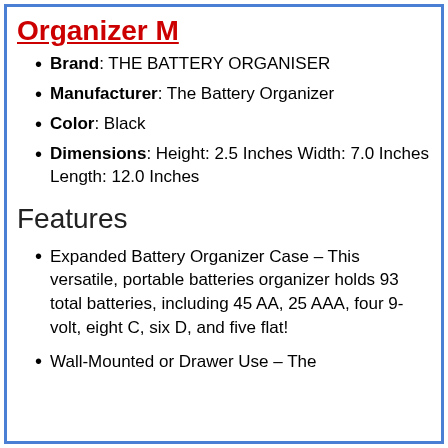Organizer M
Brand: THE BATTERY ORGANISER
Manufacturer: The Battery Organizer
Color: Black
Dimensions: Height: 2.5 Inches Width: 7.0 Inches Length: 12.0 Inches
Features
Expanded Battery Organizer Case – This versatile, portable batteries organizer holds 93 total batteries, including 45 AA, 25 AAA, four 9-volt, eight C, six D, and five flat!
Wall-Mounted or Drawer Use – The